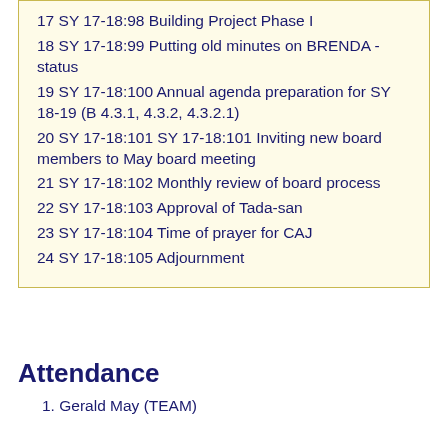17 SY 17-18:98 Building Project Phase I
18 SY 17-18:99 Putting old minutes on BRENDA - status
19 SY 17-18:100 Annual agenda preparation for SY 18-19 (B 4.3.1, 4.3.2, 4.3.2.1)
20 SY 17-18:101 SY 17-18:101 Inviting new board members to May board meeting
21 SY 17-18:102 Monthly review of board process
22 SY 17-18:103 Approval of Tada-san
23 SY 17-18:104 Time of prayer for CAJ
24 SY 17-18:105 Adjournment
Attendance
1. Gerald May (TEAM)